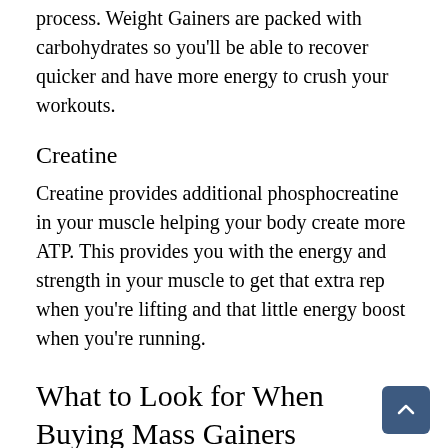process. Weight Gainers are packed with carbohydrates so you'll be able to recover quicker and have more energy to crush your workouts.
Creatine
Creatine provides additional phosphocreatine in your muscle helping your body create more ATP. This provides you with the energy and strength in your muscle to get that extra rep when you're lifting and that little energy boost when you're running.
What to Look for When Buying Mass Gainers
Carb and Protein Ratio